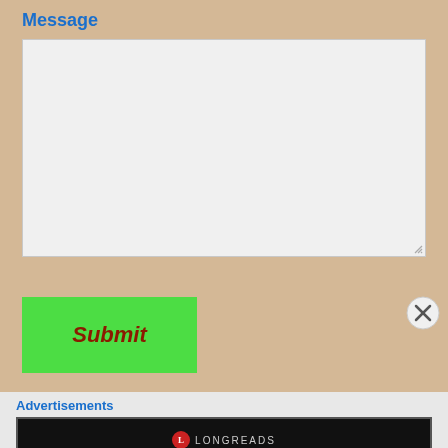Message
[Figure (other): Empty text area input box with resize handle at bottom-right corner]
[Figure (other): Green Submit button with dark red italic text]
[Figure (other): Close/dismiss button (X circle) in the upper right area]
Advertisements
[Figure (other): Longreads advertisement banner on black background with text: Read anything great lately?]